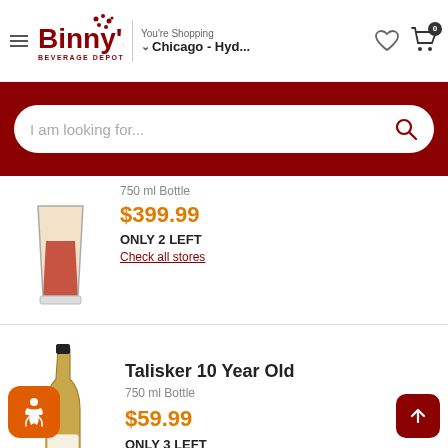Binny's Beverage Depot — You're Shopping Chicago - Hyd...
I am looking for...
750 ml Bottle
$399.99
ONLY 2 LEFT
Check all stores
[Figure (photo): Partial product image — amber liquid in a glass]
Talisker 10 Year Old
750 ml Bottle
$59.99
ONLY 3 LEFT
Check all stores
[Figure (photo): Talisker 10 Year Old whisky bottle, 750ml]